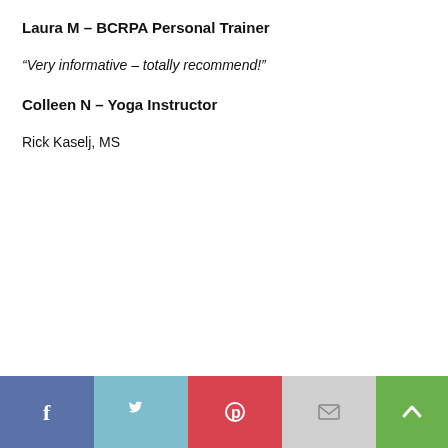Laura M – BCRPA Personal Trainer
“Very informative – totally recommend!”
Colleen N – Yoga Instructor
Rick Kaselj, MS
Social share buttons: Facebook, Twitter, Pinterest, Email; Scroll-to-top button